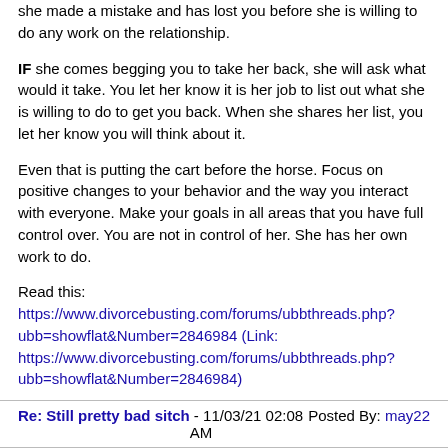she made a mistake and has lost you before she is willing to do any work on the relationship.
IF she comes begging you to take her back, she will ask what would it take. You let her know it is her job to list out what she is willing to do to get you back. When she shares her list, you let her know you will think about it.
Even that is putting the cart before the horse. Focus on positive changes to your behavior and the way you interact with everyone. Make your goals in all areas that you have full control over. You are not in control of her. She has her own work to do.
Read this:
https://www.divorcebusting.com/forums/ubbthreads.php?ubb=showflat&Number=2846984 (Link: https://www.divorcebusting.com/forums/ubbthreads.php?ubb=showflat&Number=2846984)
Re: Still pretty bad sitch - 11/03/21 02:08 AM   Posted By: may22
Hi SA,
I completely agree with the others about not inviting her to speak to a DB coach. I did this, actually, and my H had a session with her. I don't think it was helpful. In fact, I'm kind of embarrassed about it now. I would strongly recommend against it.